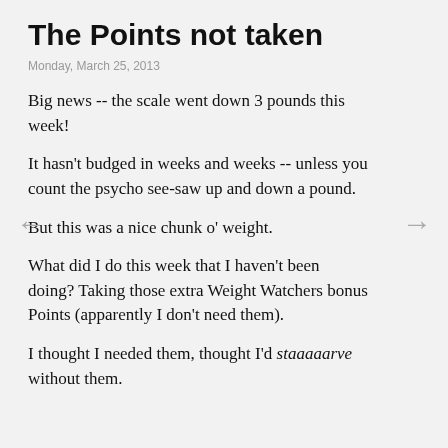The Points not taken
Monday, March 25, 2013
Big news -- the scale went down 3 pounds this week!
It hasn't budged in weeks and weeks -- unless you count the psycho see-saw up and down a pound.
But this was a nice chunk o' weight.
What did I do this week that I haven't been doing? Taking those extra Weight Watchers bonus Points (apparently I don't need them).
I thought I needed them, thought I'd staaaaarve without them.